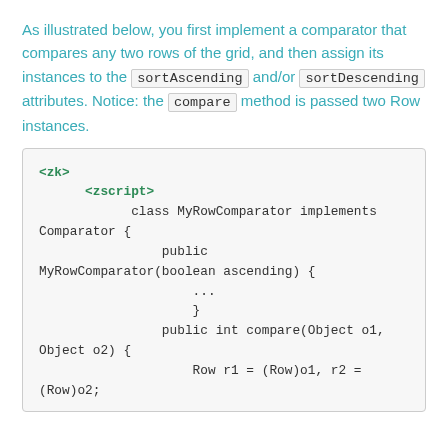As illustrated below, you first implement a comparator that compares any two rows of the grid, and then assign its instances to the sortAscending and/or sortDescending attributes. Notice: the compare method is passed two Row instances.
[Figure (screenshot): Code block showing XML and Java code: <zk> element containing <zscript> element with class MyRowComparator implements Comparator { public MyRowComparator(boolean ascending) { ... } public int compare(Object o1, Object o2) { Row r1 = (Row)o1, r2 = (Row)o2;]